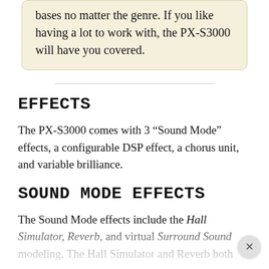bases no matter the genre. If you like having a lot to work with, the PX-S3000 will have you covered.
EFFECTS
The PX-S3000 comes with 3 “Sound Mode” effects, a configurable DSP effect, a chorus unit, and variable brilliance.
SOUND MODE EFFECTS
The Sound Mode effects include the Hall Simulator, Reverb, and virtual Surround Sound modeling. The Hall Simulator and Reverb both